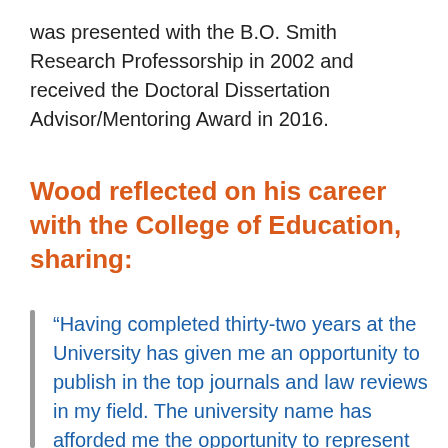was presented with the B.O. Smith Research Professorship in 2002 and received the Doctoral Dissertation Advisor/Mentoring Award in 2016.
Wood reflected on his career with the College of Education, sharing:
“Having completed thirty-two years at the University has given me an opportunity to publish in the top journals and law reviews in my field. The university name has afforded me the opportunity to represent literally hundreds of thousands of school children in education finance litigation cases across the nation and to have worked with dozens of state legislatures regarding the financing of